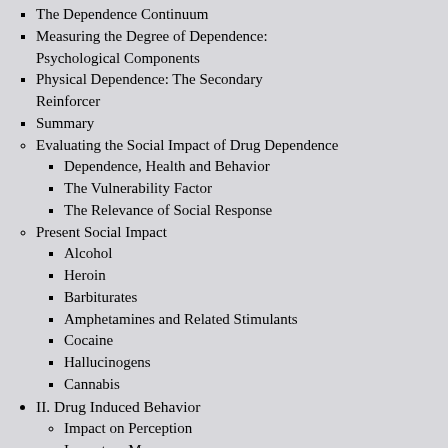The Dependence Continuum
Measuring the Degree of Dependence: Psychological Components
Physical Dependence: The Secondary Reinforcer
Summary
Evaluating the Social Impact of Drug Dependence
Dependence, Health and Behavior
The Vulnerability Factor
The Relevance of Social Response
Present Social Impact
Alcohol
Heroin
Barbiturates
Amphetamines and Related Stimulants
Cocaine
Hallucinogens
Cannabis
II. Drug Induced Behavior
Impact on Perception
Impact on Memory
Alteration of Mental States
Impairment of Psychomotor Function
Summary
III.Impact on Public Safety